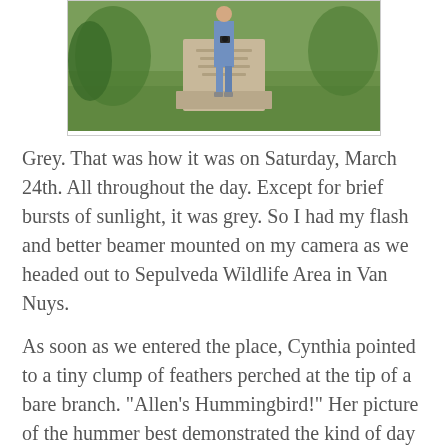[Figure (photo): Person standing in front of a large stone monument or gravestone on green grass, with a camera around their neck. The stone has text on it but not clearly legible.]
Grey. That was how it was on Saturday, March 24th. All throughout the day. Except for brief bursts of sunlight, it was grey. So I had my flash and better beamer mounted on my camera as we headed out to Sepulveda Wildlife Area in Van Nuys.
As soon as we entered the place, Cynthia pointed to a tiny clump of feathers perched at the tip of a bare branch. "Allen's Hummingbird!" Her picture of the hummer best demonstrated the kind of day we were going to have: it was, indeed, crappy.
The lake was not its usual bustling with bird-activity except for the usual coots and grebes. The lakeside and the surrounding area however, were bursting with song! Brewer's Blackbirds were filling the air with their...